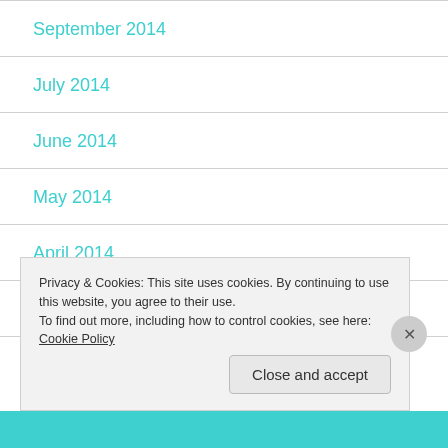September 2014
July 2014
June 2014
May 2014
April 2014
March 2014
Privacy & Cookies: This site uses cookies. By continuing to use this website, you agree to their use.
To find out more, including how to control cookies, see here: Cookie Policy
Close and accept